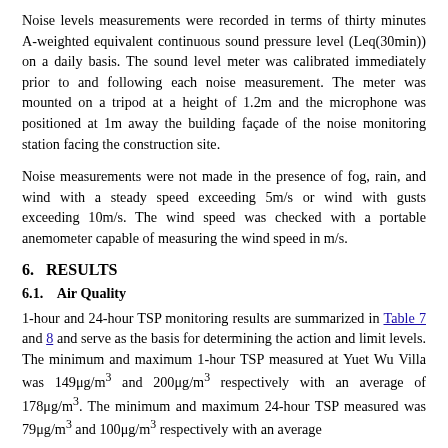Noise levels measurements were recorded in terms of thirty minutes A-weighted equivalent continuous sound pressure level (Leq(30min)) on a daily basis. The sound level meter was calibrated immediately prior to and following each noise measurement. The meter was mounted on a tripod at a height of 1.2m and the microphone was positioned at 1m away the building façade of the noise monitoring station facing the construction site.
Noise measurements were not made in the presence of fog, rain, and wind with a steady speed exceeding 5m/s or wind with gusts exceeding 10m/s. The wind speed was checked with a portable anemometer capable of measuring the wind speed in m/s.
6.   RESULTS
6.1.   Air Quality
1-hour and 24-hour TSP monitoring results are summarized in Table 7 and 8 and serve as the basis for determining the action and limit levels. The minimum and maximum 1-hour TSP measured at Yuet Wu Villa was 149μg/m³ and 200μg/m³ respectively with an average of 178μg/m³. The minimum and maximum 24-hour TSP measured was 79μg/m³ and 100μg/m³ respectively with an average